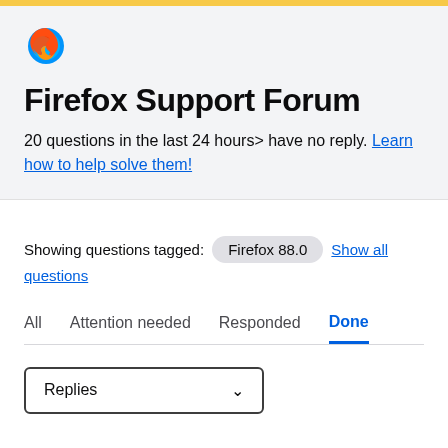[Figure (logo): Firefox browser logo - flame and globe icon]
Firefox Support Forum
20 questions in the last 24 hours> have no reply. Learn how to help solve them!
Showing questions tagged: Firefox 88.0  Show all questions
All  Attention needed  Responded  Done
Replies